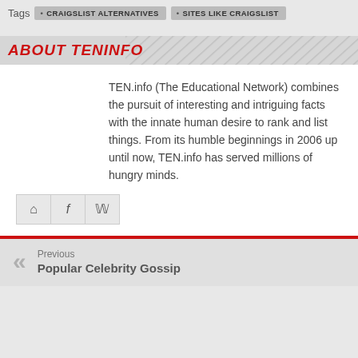Tags • CRAIGSLIST ALTERNATIVES • SITES LIKE CRAIGSLIST
ABOUT TENINFO
TEN.info (The Educational Network) combines the pursuit of interesting and intriguing facts with the innate human desire to rank and list things. From its humble beginnings in 2006 up until now, TEN.info has served millions of hungry minds.
Previous
Popular Celebrity Gossip